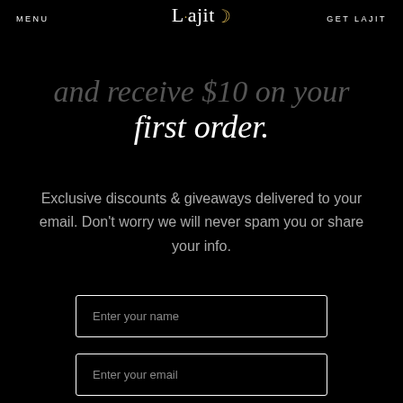MENU  Lajit  GET LAJIT
and receive $10 on your first order.
Exclusive discounts & giveaways delivered to your email. Don't worry we will never spam you or share your info.
Enter your name
Enter your email
SUBMIT